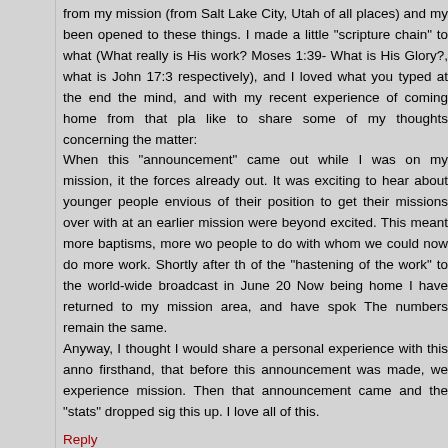from my mission (from Salt Lake City, Utah of all places) and my been opened to these things. I made a little "scripture chain" to what (What really is His work? Moses 1:39- What is His Glory?, what is John 17:3 respectively), and I loved what you typed at the end the mind, and with my recent experience of coming home from that pla like to share some of my thoughts concerning the matter:
When this "announcement" came out while I was on my mission, it the forces already out. It was exciting to hear about younger people envious of their position to get their missions over with at an earlier mission were beyond excited. This meant more baptisms, more wo people to do with whom we could now do more work. Shortly after th of the "hastening of the work" to the world-wide broadcast in June 20 Now being home I have returned to my mission area, and have spok The numbers remain the same.
Anyway, I thought I would share a personal experience with this anno firsthand, that before this announcement was made, we experience mission. Then that announcement came and the "stats" dropped sig this up. I love all of this.
Reply
Anonymous April 1, 2015 at 9:59 AM
Adrian,